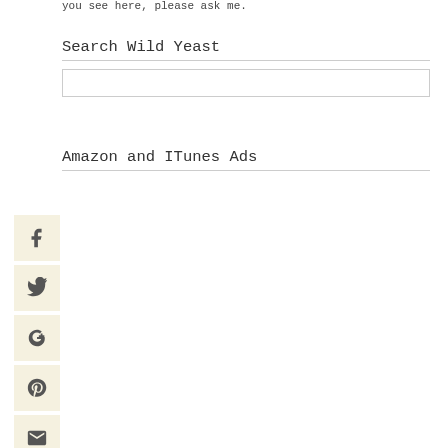you see here, please ask me.
Search Wild Yeast
Amazon and ITunes Ads
[Figure (other): Social sharing sidebar with icons for Facebook, Twitter, Google+, Pinterest, and Email]